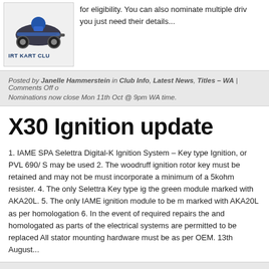[Figure (logo): Dirt Kart Club logo with kart racer illustration]
for eligibility. You can also nominate multiple driv… you just need their details...
Posted by Janelle Hammerstein in Club Info, Latest News, Titles – WA | Comments Off o…
Nominations now close Mon 11th Oct @ 9pm WA time.
X30 Ignition update
1. IAME SPA Selettra Digital-K Ignition System – Key type Ignition, or PVL 690/ S… may be used 2. The woodruff ignition rotor key must be retained and may not be… must incorporate a minimum of a 5kohm resister. 4. The only Selettra Key type ig… the green module marked with AKA20L. 5. The only IAME ignition module to be m… marked with AKA20L as per homologation 6. In the event of required repairs the… and homologated as parts of the electrical systems are permitted to be replaced… All stator mounting hardware must be as per OEM. 13th August...
Posted by Janelle Hammerstein in Club Info, Latest News, Rule Changes | Comments Of… update